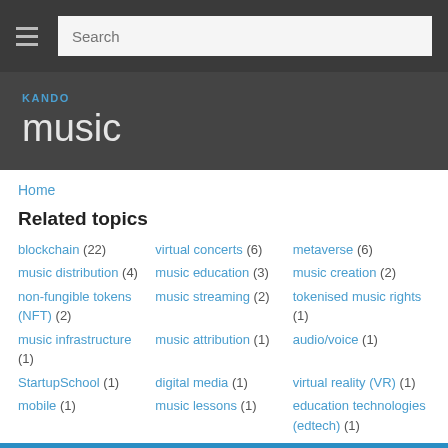Search
music
KANDO
Home
Related topics
blockchain (22)
virtual concerts (6)
metaverse (6)
music distribution (4)
music education (3)
music creation (2)
non-fungible tokens (NFT) (2)
music streaming (2)
tokenised music rights (1)
music infrastructure (1)
music attribution (1)
audio/voice (1)
StartupSchool (1)
digital media (1)
virtual reality (VR) (1)
mobile (1)
music lessons (1)
education technologies (edtech) (1)
education (1)
music recognition (1)
speech recognition (1)